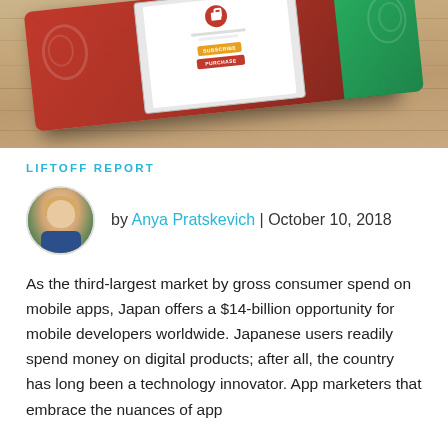[Figure (photo): Photo of a red book or phone case with a smartphone screen showing subscribe and purchase buttons, placed on a wooden table surface.]
LIFTOFF REPORT
by Anya Pratskevich | October 10, 2018
As the third-largest market by gross consumer spend on mobile apps, Japan offers a $14-billion opportunity for mobile developers worldwide. Japanese users readily spend money on digital products; after all, the country has long been a technology innovator. App marketers that embrace the nuances of app